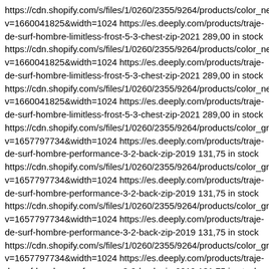https://cdn.shopify.com/s/files/1/0260/2355/9264/products/color_neg v=1660041825&width=1024 https://es.deeply.com/products/traje-de-surf-hombre-limitless-frost-5-3-chest-zip-2021 289,00 in stock https://cdn.shopify.com/s/files/1/0260/2355/9264/products/color_neg v=1660041825&width=1024 https://es.deeply.com/products/traje-de-surf-hombre-limitless-frost-5-3-chest-zip-2021 289,00 in stock https://cdn.shopify.com/s/files/1/0260/2355/9264/products/color_neg v=1660041825&width=1024 https://es.deeply.com/products/traje-de-surf-hombre-limitless-frost-5-3-chest-zip-2021 289,00 in stock https://cdn.shopify.com/s/files/1/0260/2355/9264/products/color_gris v=1657797734&width=1024 https://es.deeply.com/products/traje-de-surf-hombre-performance-3-2-back-zip-2019 131,75 in stock https://cdn.shopify.com/s/files/1/0260/2355/9264/products/color_gris v=1657797734&width=1024 https://es.deeply.com/products/traje-de-surf-hombre-performance-3-2-back-zip-2019 131,75 in stock https://cdn.shopify.com/s/files/1/0260/2355/9264/products/color_gris v=1657797734&width=1024 https://es.deeply.com/products/traje-de-surf-hombre-performance-3-2-back-zip-2019 131,75 in stock https://cdn.shopify.com/s/files/1/0260/2355/9264/products/color_gris v=1657797734&width=1024 https://es.deeply.com/products/traje-de-surf-hombre-performance-3-2-back-zip-2019 131,75 in stock https://cdn.shopify.com/s/files/1/0260/2355/9264/products/color_gris